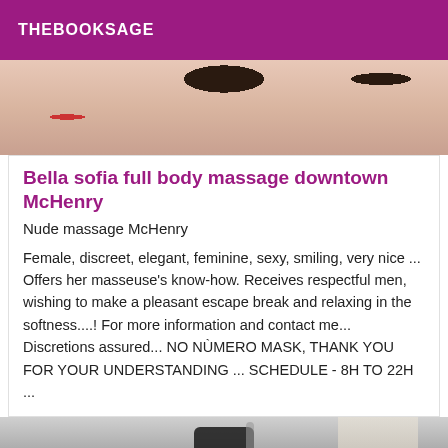THEBOOKSAGE
[Figure (photo): Partial view of a person, top portion cropped, showing skin and dark hair against a light background]
Bella sofia full body massage downtown McHenry
Nude massage McHenry
Female, discreet, elegant, feminine, sexy, smiling, very nice ... Offers her masseuse's know-how. Receives respectful men, wishing to make a pleasant escape break and relaxing in the softness....! For more information and contact me... Discretions assured... NO NÙMERO MASK, THANK YOU FOR YOUR UNDERSTANDING ... SCHEDULE - 8H TO 22H ...
[Figure (photo): Person taking a selfie with a phone in a mirror, partially visible]